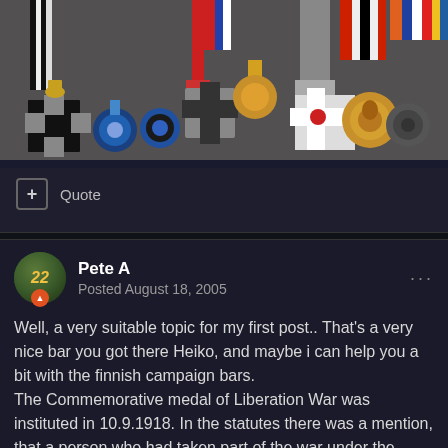[Figure (photo): A collection of military medals, crosses, and decorations displayed on a surface with ribbons, including Iron Crosses and other ornate medals]
+ Quote
Pete A
Posted August 18, 2005
Well, a very suitable topic for my first post.. That's a very nice bar you got there Heiko, and maybe i can help you a bit with the finnish campaign bars.
The Commemorative medal of Liberation War was instituted in 10.9.1918. In the statutes there was a mention, that a person who had taken part of the war under the enemy fire, was eligble to